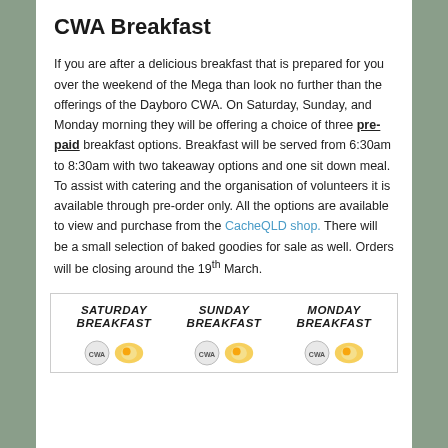CWA Breakfast
If you are after a delicious breakfast that is prepared for you over the weekend of the Mega than look no further than the offerings of the Dayboro CWA.  On Saturday, Sunday, and Monday morning they will be offering a choice of three pre-paid breakfast options. Breakfast will be served from 6:30am to 8:30am with two takeaway options and one sit down meal. To assist with catering and the organisation of volunteers it is available through pre-order only.  All the options are available to view and purchase from the CacheQLD shop.  There will be a small selection of baked goodies for sale as well.   Orders will be closing around the 19th March.
[Figure (infographic): Three breakfast menu panels showing Saturday Breakfast, Sunday Breakfast, and Monday Breakfast with CWA logo and food images]